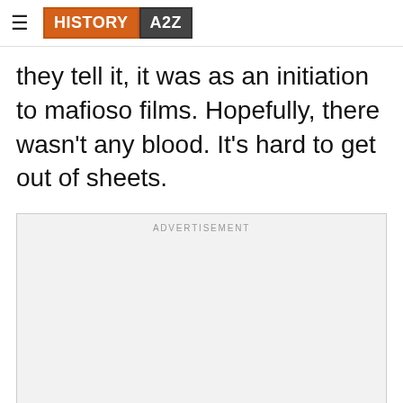HISTORY A2Z
they tell it, it was as an initiation to mafioso films. Hopefully, there wasn't any blood. It's hard to get out of sheets.
[Figure (other): Advertisement placeholder box with label 'ADVERTISEMENT']